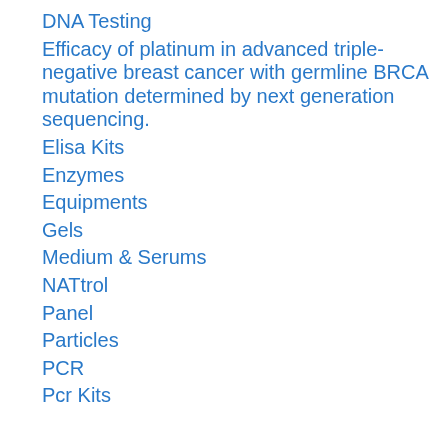DNA Testing
Efficacy of platinum in advanced triple-negative breast cancer with germline BRCA mutation determined by next generation sequencing.
Elisa Kits
Enzymes
Equipments
Gels
Medium & Serums
NATtrol
Panel
Particles
PCR
Pcr Kits